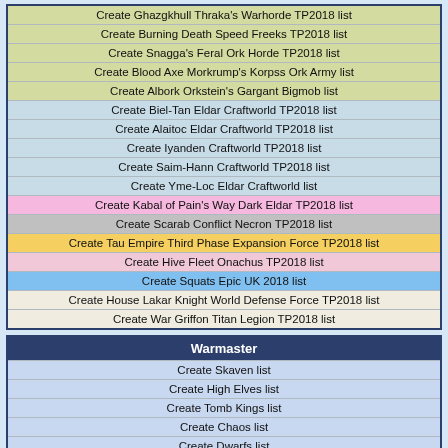Create Ghazgkhull Thraka's Warhorde TP2018 list
Create Burning Death Speed Freeks TP2018 list
Create Snagga's Feral Ork Horde TP2018 list
Create Blood Axe Morkrump's Korpss Ork Army list
Create Albork Orkstein's Gargant Bigmob list
Create Biel-Tan Eldar Craftworld TP2018 list
Create Alaitoc Eldar Craftworld TP2018 list
Create Iyanden Craftworld TP2018 list
Create Saim-Hann Craftworld TP2018 list
Create Yme-Loc Eldar Craftworld list
Create Kabal of Pain's Way Dark Eldar TP2018 list
Create Scarab Conflict Necron TP2018 list
Create Tau Empire Third Phase Expansion Force TP2018 list
Create Hive Fleet Onachus TP2018 list
Create Squats Epic UK 2018 list
Create House Lakar Knight World Defense Force TP2018 list
Create War Griffon Titan Legion TP2018 list
Warmaster
Create Skaven list
Create High Elves list
Create Tomb Kings list
Create Chaos list
Create Dwarfs list
Create Lizardmen list